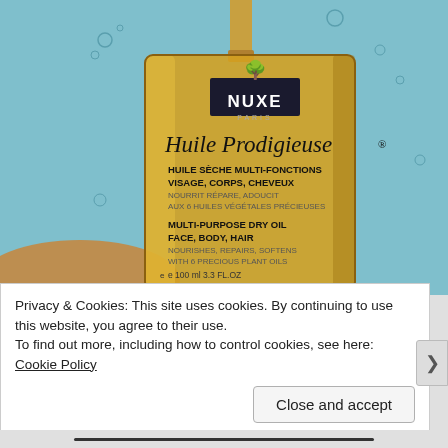[Figure (photo): Close-up photograph of a NUXE Huile Prodigieuse bottle against a light blue background with gold/amber oil drops. The bottle label reads: NUXE PARIS, Huile Prodigieuse®, HUILE SÈCHE MULTI-FONCTIONS, VISAGE, CORPS, CHEVEUX, NOURRIT RÉPARE ADOUCIT, AUX 6 HUILES VÉGÉTALES PRÉCIEUSES, MULTI-PURPOSE DRY OIL, FACE, BODY, HAIR, NOURISHES REPAIRS SOFTENS, WITH 6 PRECIOUS PLANT OILS, e 100ml 3.3 FL.OZ]
Privacy & Cookies: This site uses cookies. By continuing to use this website, you agree to their use.
To find out more, including how to control cookies, see here: Cookie Policy